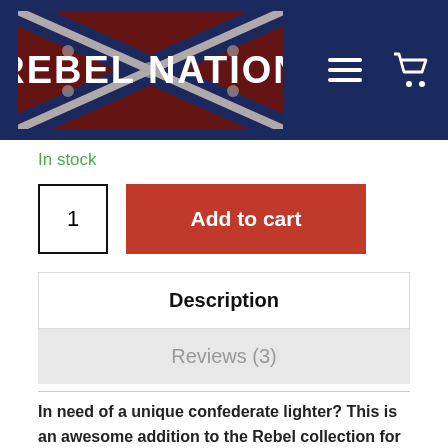[Figure (screenshot): Rebel Nation website header with logo showing Confederate flag design and white bold text 'REBEL NATION', with hamburger menu icon and shopping cart icon on dark navy blue background]
In stock
1  Add to cart
Description
Reviews (3)
In need of a unique confederate lighter? This is an awesome addition to the Rebel collection for all you Rebel fans out there! This Rebel Nation lighter features the same design as our NEW